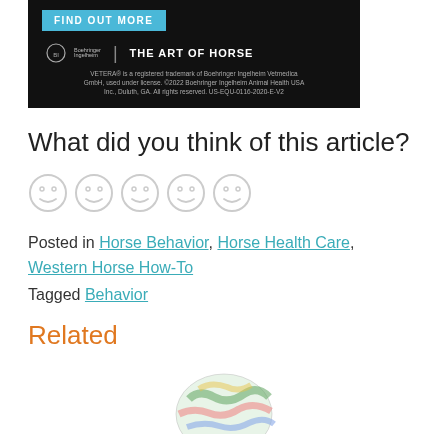[Figure (photo): Advertisement banner for Boehringer Ingelheim VETERA product with 'FIND OUT MORE' button and 'THE ART OF HORSE' branding on dark background with fine print trademark notice.]
What did you think of this article?
[Figure (infographic): Five smiley face rating icons in a row, all outlined in light gray.]
Posted in Horse Behavior, Horse Health Care, Western Horse How-To
Tagged Behavior
Related
[Figure (photo): Partial view of a colorful globe illustration at the bottom of the page.]